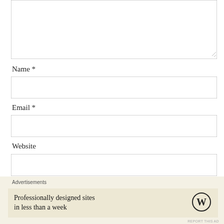[Figure (screenshot): Comment form textarea (empty, top of page)]
Name *
[Figure (screenshot): Name input field (empty)]
Email *
[Figure (screenshot): Email input field (empty)]
Website
[Figure (screenshot): Website input field (empty)]
POST COMMENT
Advertisements
Professionally designed sites in less than a week